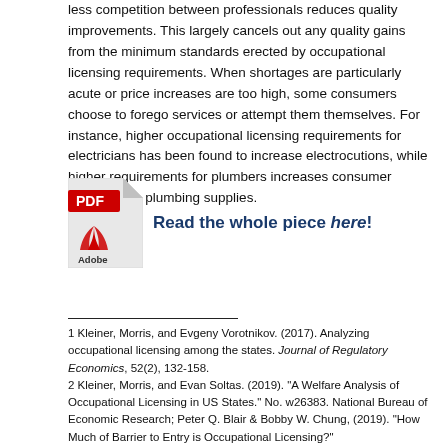less competition between professionals reduces quality improvements. This largely cancels out any quality gains from the minimum standards erected by occupational licensing requirements. When shortages are particularly acute or price increases are too high, some consumers choose to forego services or attempt them themselves. For instance, higher occupational licensing requirements for electricians has been found to increase electrocutions, while higher requirements for plumbers increases consumer spending on plumbing supplies.
[Figure (illustration): Adobe PDF icon (red PDF label with Adobe Acrobat logo) next to bold text reading 'Read the whole piece here!']
1 Kleiner, Morris, and Evgeny Vorotnikov. (2017). Analyzing occupational licensing among the states. Journal of Regulatory Economics, 52(2), 132-158.
2 Kleiner, Morris, and Evan Soltas. (2019). "A Welfare Analysis of Occupational Licensing in US States." No. w26383. National Bureau of Economic Research; Peter Q. Blair & Bobby W. Chung, (2019). "How Much of Barrier to Entry is Occupational Licensing?"